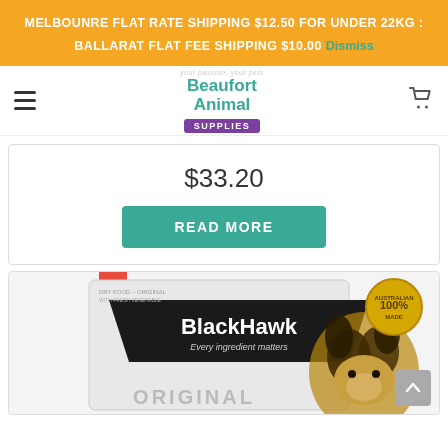MELBOUNRE FLAT RATE SHIPPING $12.50 FOR UNDER 22KG : BALLARAT FLAT FEE SHIPPING $10.00 Dismiss
[Figure (logo): Beaufort Animal Supplies logo with teal text and purple supplies badge]
$33.20
READ MORE
[Figure (photo): BlackHawk Original dog food bag with a German Shepherd dog, 100% Australian Made badge, and tagline Every ingredient matters]